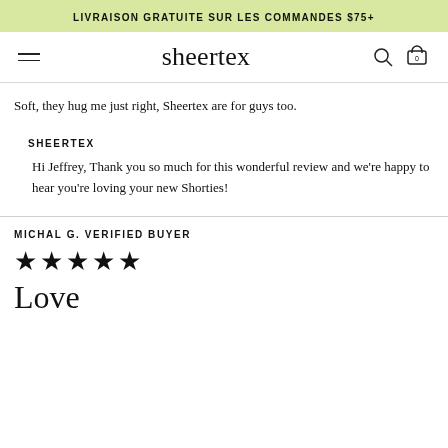LIVRAISON GRATUITE SUR LES COMMANDES $75+
[Figure (screenshot): Sheertex website navigation bar with hamburger menu on left, 'sheertex' logo in center, search icon and cart icon (showing 0) on right]
Soft, they hug me just right, Sheertex are for guys too.
SHEERTEX
Hi Jeffrey, Thank you so much for this wonderful review and we're happy to hear you're loving your new Shorties!
MICHAL G. VERIFIED BUYER
★★★★★
Love